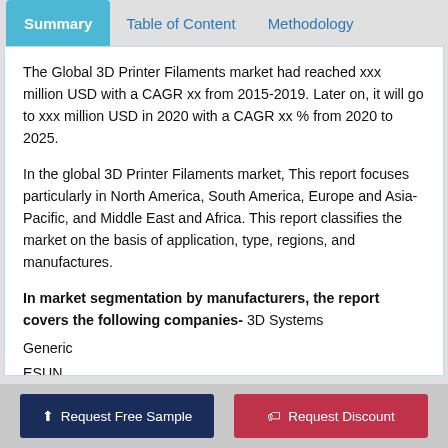Summary | Table of Content | Methodology
The Global 3D Printer Filaments market had reached xxx million USD with a CAGR xx from 2015-2019. Later on, it will go to xxx million USD in 2020 with a CAGR xx % from 2020 to 2025.
In the global 3D Printer Filaments market, This report focuses particularly in North America, South America, Europe and Asia-Pacific, and Middle East and Africa. This report classifies the market on the basis of application, type, regions, and manufactures.
In market segmentation by manufacturers, the report covers the following companies- 3D Systems
Generic
ESUN
ORD Solutions 3D Printer Filament
Request Free Sample | Request Discount